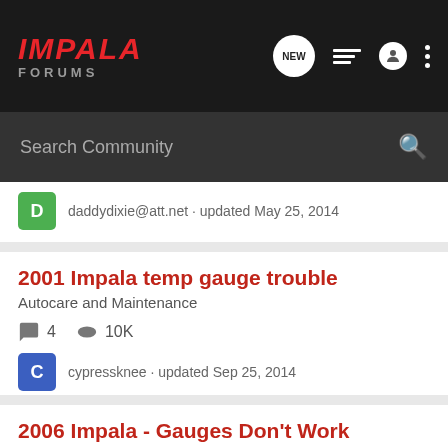IMPALA FORUMS
Search Community
daddydixie@att.net · updated May 25, 2014
2001 Impala temp gauge trouble
Autocare and Maintenance
4  10K
cypressknee · updated Sep 25, 2014
2006 Impala - Gauges Don't Work
Chevy Impala Discussion
2  2K
stillbill · updated Jan 16, 2017